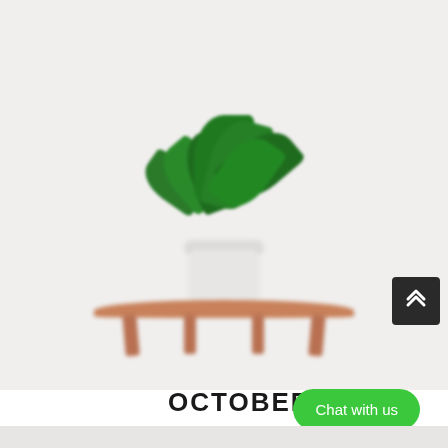[Figure (photo): Blurred photograph of a green leafy plant in a white pot sitting on a wooden bench, against a light grey/white background. A dark grey scroll-to-top button with double chevron up arrows is visible in the lower right corner.]
OCTOBER
Chat with us